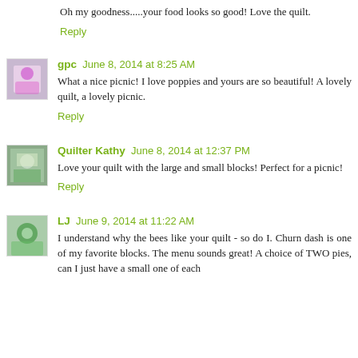Oh my goodness.....your food looks so good! Love the quilt.
Reply
gpc June 8, 2014 at 8:25 AM
What a nice picnic! I love poppies and yours are so beautiful! A lovely quilt, a lovely picnic.
Reply
Quilter Kathy June 8, 2014 at 12:37 PM
Love your quilt with the large and small blocks! Perfect for a picnic!
Reply
LJ June 9, 2014 at 11:22 AM
I understand why the bees like your quilt - so do I. Churn dash is one of my favorite blocks. The menu sounds great! A choice of TWO pies, can I just have a small one of each